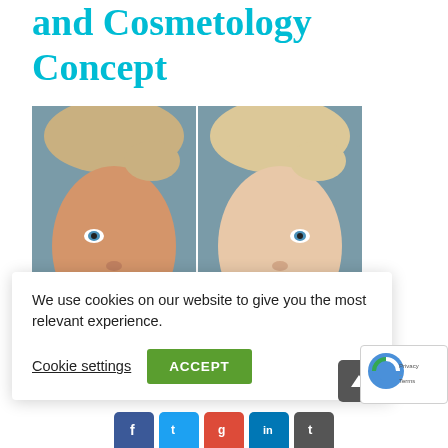and Cosmetology Concept
[Figure (photo): Split-face portrait of a blonde woman with blue eyes showing two sides — the left with warmer/darker complexion and the right with brighter/lighter complexion, on a grayish-blue background.]
We use cookies on our website to give you the most relevant experience.
Cookie settings   ACCEPT